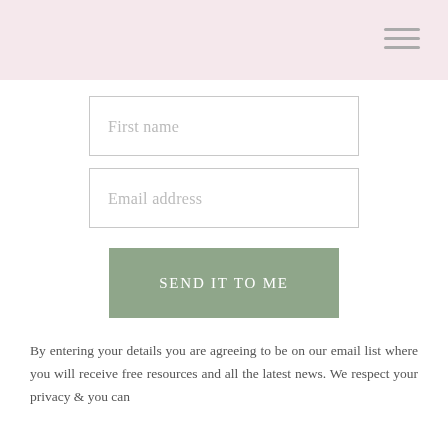First name
Email address
SEND IT TO ME
By entering your details you are agreeing to be on our email list where you will receive free resources and all the latest news. We respect your privacy & you can